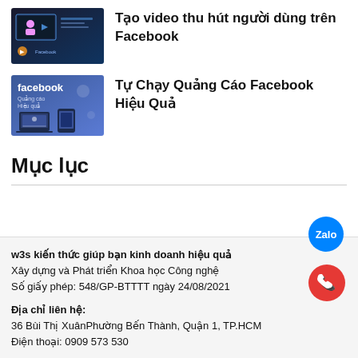[Figure (illustration): Dark themed thumbnail with Facebook video content graphic]
Tạo video thu hút người dùng trên Facebook
[Figure (illustration): Blue Facebook themed thumbnail with Quảng cáo text and devices]
Tự Chạy Quảng Cáo Facebook Hiệu Quả
Mục lục
w3s kiến thức giúp bạn kinh doanh hiệu quả
Xây dựng và Phát triển Khoa học Công nghệ
Số giấy phép: 548/GP-BTTTT ngày 24/08/2021
Địa chỉ liên hệ:
36 Bùi Thị XuânPhường Bến Thành, Quận 1, TP.HCM
Điện thoại: 0909 573 530